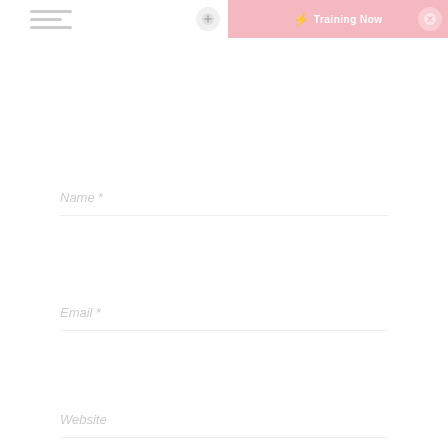[Figure (screenshot): Website header with hamburger menu on the left, a pink/rose banner on the top right containing a lightning bolt icon and text 'Training Now', with circular icon buttons on either side of the banner]
Name *
Email *
Website